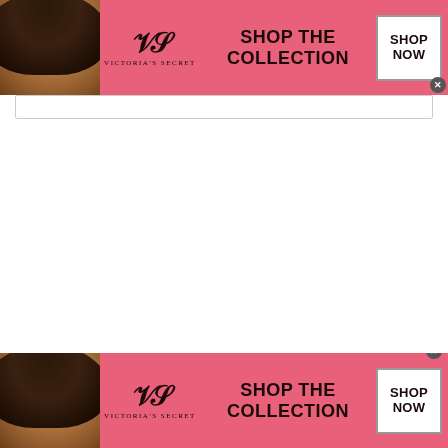[Figure (illustration): Victoria's Secret banner advertisement (top). Pink background with model photo on left, VS monogram logo and 'Victoria's Secret' brand name in center-left, 'SHOP THE COLLECTION' text in bold black in center, and 'SHOP NOW' white button on right. Small X close button in bottom-right corner.]
[Figure (illustration): Victoria's Secret banner advertisement (bottom). Same layout as top banner: Pink background with model photo on left, VS monogram logo and 'Victoria's Secret' brand name in center-left, 'SHOP THE COLLECTION' text in bold black in center, and 'SHOP NOW' white button on right. Small X close button in top-right corner above banner.]